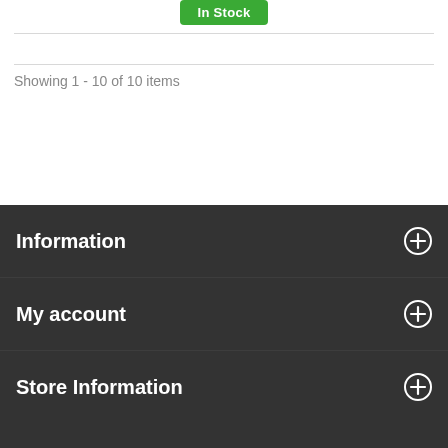In Stock
Showing 1 - 10 of 10 items
Information
My account
Store Information